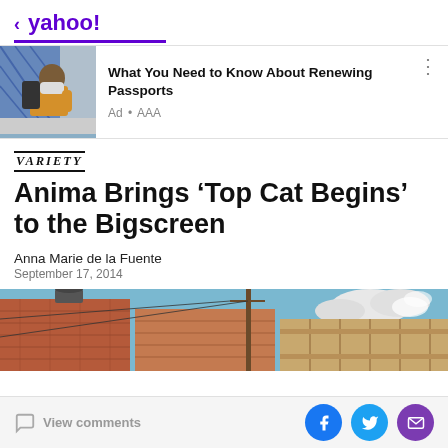< yahoo!
[Figure (photo): Thumbnail photo of a person wearing a mask and backpack, standing near a wall with blue patterns.]
What You Need to Know About Renewing Passports
Ad • AAA
VARIETY
Anima Brings 'Top Cat Begins' to the Bigscreen
Anna Marie de la Fuente
September 17, 2014
[Figure (photo): Animated scene showing brick buildings, utility poles, and a blue sky with white clouds, from the Top Cat Begins animated film.]
View comments